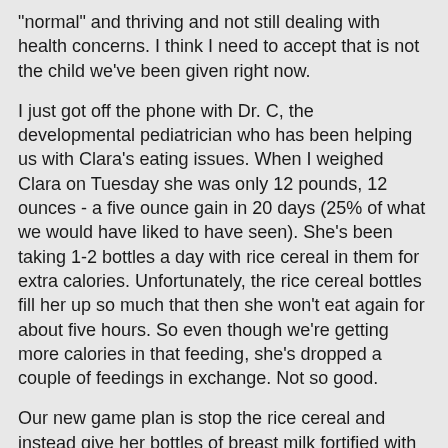"normal" and thriving and not still dealing with health concerns.  I think I need to accept that is not the child we've been given right now.
I just got off the phone with Dr. C, the developmental pediatrician who has been helping us with Clara's eating issues.  When I weighed Clara on Tuesday she was only 12 pounds, 12 ounces - a five ounce gain in 20 days (25% of what we would have liked to have seen).  She's been taking 1-2 bottles a day with rice cereal in them for extra calories.  Unfortunately, the rice cereal bottles fill her up so much that then she won't eat again for about five hours. So even though we're getting more calories in that feeding, she's dropped a couple of feedings in exchange.  Not so good.
Our new game plan is stop the rice cereal and instead give her bottles of breast milk fortified with formula so they're still 27 calories per ounce (regular breast milk is 20cal/oz), but hopefully will move through her system quickly so that she'll be willing to pick up a few more feedings a day.  We're also going to add a third bottle daily with this concoction, which means I will have to really pick up pumping again too.